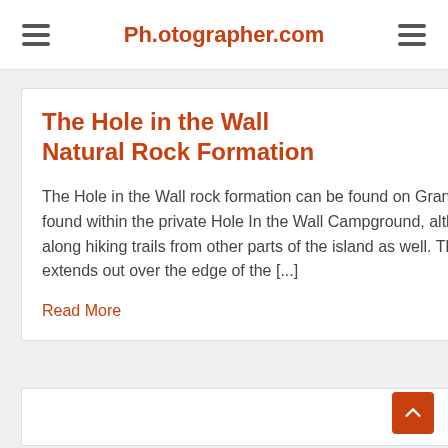Ph.otographer.com
The Hole in the Wall Natural Rock Formation
The Hole in the Wall rock formation can be found on Grand Manan Island. It is found within the private Hole In the Wall Campground, although access is possible along hiking trails from other parts of the island as well. This large natural rock arch extends out over the edge of the [...]
Read More